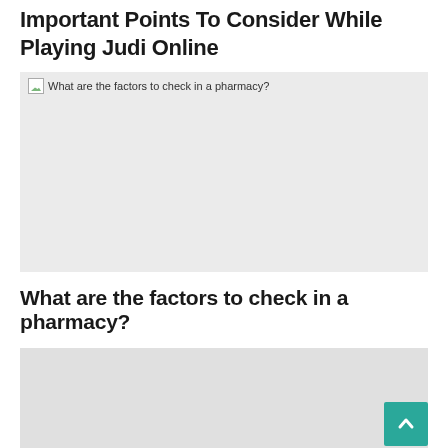Important Points To Consider While Playing Judi Online
[Figure (photo): Broken image placeholder with alt text: What are the factors to check in a pharmacy?]
What are the factors to check in a pharmacy?
[Figure (photo): Second image placeholder, no alt text visible, light gray background]